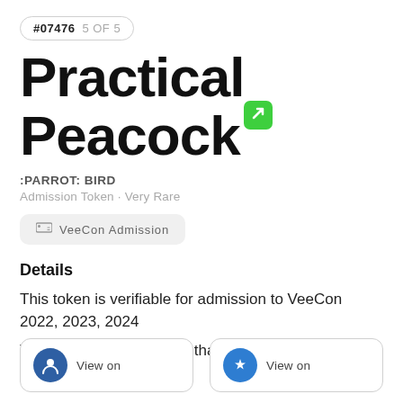#07476  5 OF 5
Practical Peacock
:PARROT: BIRD
Admission Token · Very Rare
VeeCon Admission
Details
This token is verifiable for admission to VeeCon 2022, 2023, 2024
This token is a collectible that lives on the Ethereum blockchain
View on
View on